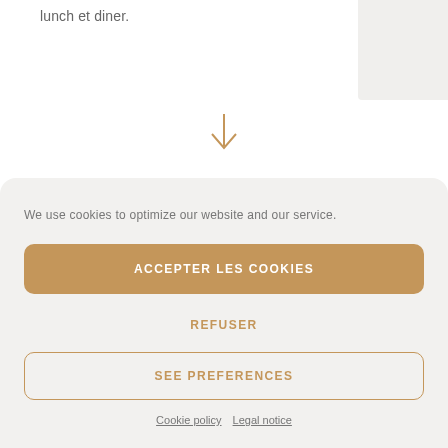lunch et diner.
[Figure (illustration): Downward pointing arrow in golden/tan color]
We use cookies to optimize our website and our service.
ACCEPTER LES COOKIES
REFUSER
SEE PREFERENCES
Cookie policy  Legal notice